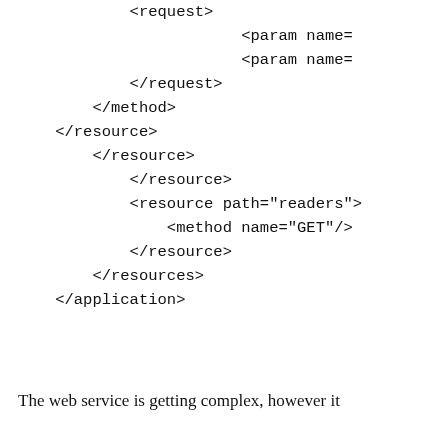<request>
                        <param name=
                        <param name=
            </request>
        </method>
    </resource>
        </resource>
            </resource>
            <resource path="readers">
                <method name="GET"/>
            </resource>
        </resources>
    </application>
The web service is getting complex, however it